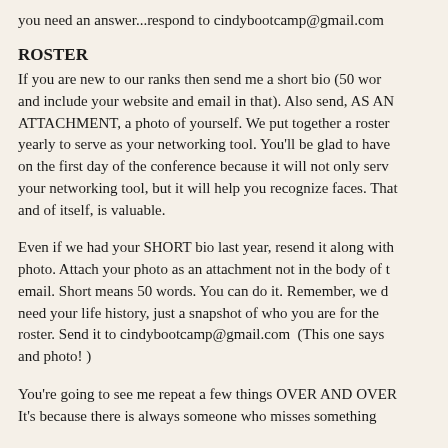you need an answer...respond to cindybootcamp@gmail.com
ROSTER
If you are new to our ranks then send me a short bio (50 words and include your website and email in that). Also send, AS AN ATTACHMENT, a photo of yourself. We put together a roster yearly to serve as your networking tool. You'll be glad to have on the first day of the conference because it will not only serve your networking tool, but it will help you recognize faces. That and of itself, is valuable.
Even if we had your SHORT bio last year, resend it along with photo. Attach your photo as an attachment not in the body of email. Short means 50 words. You can do it. Remember, we don't need your life history, just a snapshot of who you are for the roster. Send it to cindybootcamp@gmail.com  (This one says and photo! )
You're going to see me repeat a few things OVER AND OVER It's because there is always someone who misses something